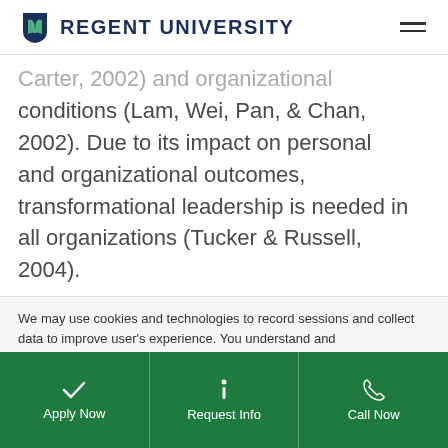Regent University
Carter, 2002) and organizational conditions (Lam, Wei, Pan, & Chan, 2002). Due to its impact on personal and organizational outcomes, transformational leadership is needed in all organizations (Tucker & Russell, 2004).
We may use cookies and technologies to record sessions and collect data to improve user's experience. You understand and agree to our Privacy Policy.
Apply Now | Request Info | Call Now